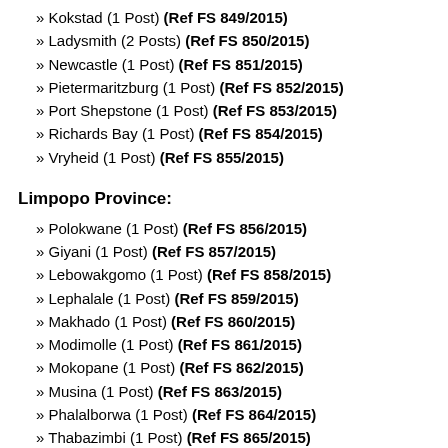» Kokstad (1 Post) (Ref FS 849/2015)
» Ladysmith (2 Posts) (Ref FS 850/2015)
» Newcastle (1 Post) (Ref FS 851/2015)
» Pietermaritzburg (1 Post) (Ref FS 852/2015)
» Port Shepstone (1 Post) (Ref FS 853/2015)
» Richards Bay (1 Post) (Ref FS 854/2015)
» Vryheid (1 Post) (Ref FS 855/2015)
Limpopo Province:
» Polokwane (1 Post) (Ref FS 856/2015)
» Giyani (1 Post) (Ref FS 857/2015)
» Lebowakgomo (1 Post) (Ref FS 858/2015)
» Lephalale (1 Post) (Ref FS 859/2015)
» Makhado (1 Post) (Ref FS 860/2015)
» Modimolle (1 Post) (Ref FS 861/2015)
» Mokopane (1 Post) (Ref FS 862/2015)
» Musina (1 Post) (Ref FS 863/2015)
» Phalalborwa (1 Post) (Ref FS 864/2015)
» Thabazimbi (1 Post) (Ref FS 865/2015)
» Thohoyandou (1 Post) (Ref FS 866/2015)